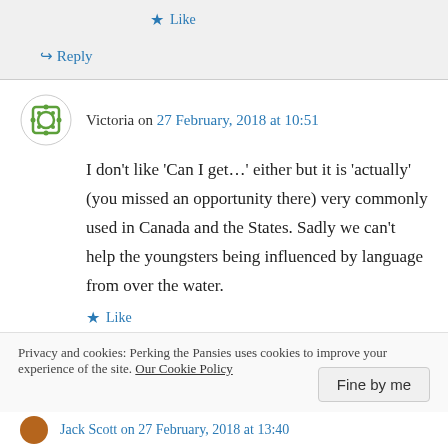★ Like
↪ Reply
Victoria on 27 February, 2018 at 10:51
I don't like 'Can I get…' either but it is 'actually' (you missed an opportunity there) very commonly used in Canada and the States. Sadly we can't help the youngsters being influenced by language from over the water.
★ Like
Privacy and cookies: Perking the Pansies uses cookies to improve your experience of the site. Our Cookie Policy
Fine by me
Jack Scott on 27 February, 2018 at 13:40